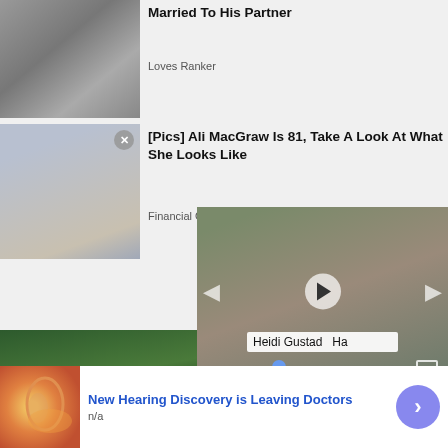[Figure (photo): Shirtless man with tattoos, article thumbnail]
Married To His Partner
Loves Ranker
[Figure (photo): Woman with long dark hair, portrait photo]
[Pics] Ali MacGraw Is 81, Take A Look At What She Looks Like
Financial Golds
[Figure (screenshot): Video player showing woman at craft desk, name bar reads: Heidi Gustad Ha...]
[Figure (photo): Nature/plant background image]
New Hearing Discovery is Leaving Doctors
n/a
[Figure (illustration): Ear anatomy illustration used as ad image]